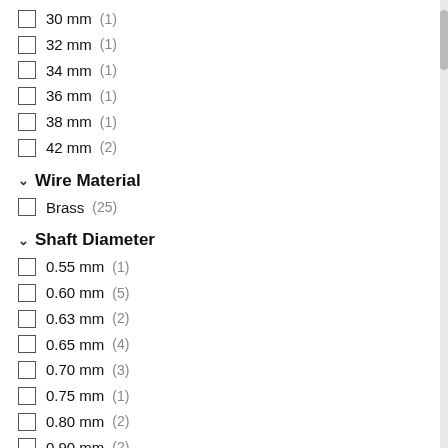30 mm (1)
32 mm (1)
34 mm (1)
36 mm (1)
38 mm (1)
42 mm (2)
Wire Material
Brass (25)
Shaft Diameter
0.55 mm (1)
0.60 mm (5)
0.63 mm (2)
0.65 mm (4)
0.70 mm (3)
0.75 mm (1)
0.80 mm (2)
0.90 mm (2)
1.00 mm (2)
1.10 mm (2)
1.45 mm (1)
Head Shape